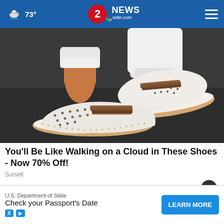73° | 2 NEWS wdtn.com
[Figure (photo): Close-up photo of white slip-on shoes with brown stripe and perforated design, worn with white rolled jeans, on dark pavement]
You'll Be Like Walking on a Cloud in These Shoes - Now 70% Off!
Sursell
[Figure (other): Close button (dark circle with X) overlay]
[Figure (photo): Partial view of second advertisement image showing a pinkish-beige background]
U.S. Department of State
Check your Passport's Date
LEARN MORE